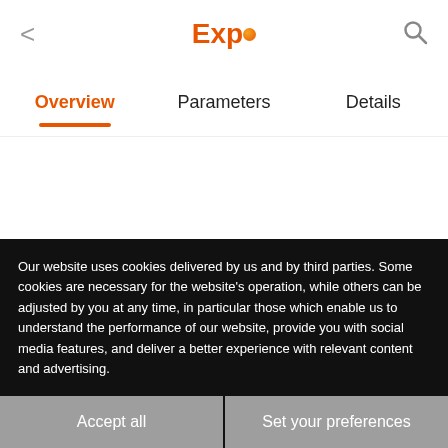Expo
Overview | Parameters | Details
Our website uses cookies delivered by us and by third parties. Some cookies are necessary for the website’s operation, while others can be adjusted by you at any time, in particular those which enable us to understand the performance of our website, provide you with social media features, and deliver a better experience with relevant content and advertising.
Accept all | Set your preferences